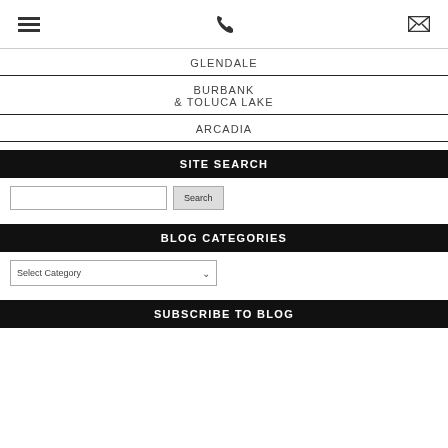[hamburger menu] [phone icon] [email icon]
GLENDALE
BURBANK & TOLUCA LAKE
ARCADIA
SITE SEARCH
[search input] [Search button]
BLOG CATEGORIES
Select Category [dropdown]
SUBSCRIBE TO BLOG